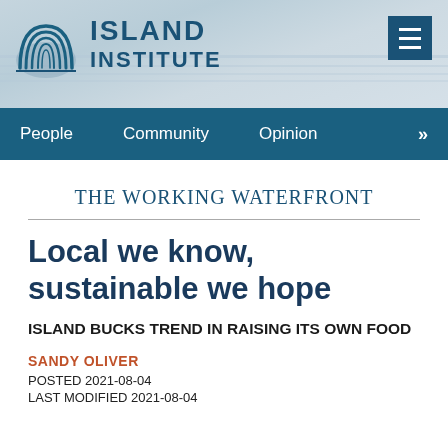[Figure (logo): Island Institute logo with concentric arc shell icon and text ISLAND INSTITUTE in teal/navy]
People   Community   Opinion   »
THE WORKING WATERFRONT
Local we know, sustainable we hope
ISLAND BUCKS TREND IN RAISING ITS OWN FOOD
SANDY OLIVER
POSTED 2021-08-04
LAST MODIFIED 2021-08-04